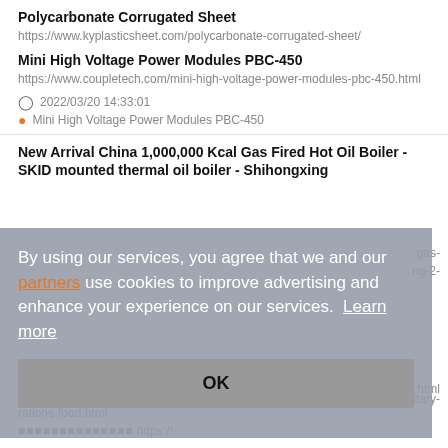Polycarbonate Corrugated Sheet
https://www.kyplasticsheet.com/polycarbonate-corrugated-sheet/
Mini High Voltage Power Modules PBC-450
https://www.coupletech.com/mini-high-voltage-power-modules-pbc-450.html
2022/03/20 14:33:01
Mini High Voltage Power Modules PBC-450
New Arrival China 1,000,000 Kcal Gas Fired Hot Oil Boiler - SKID mounted thermal oil boiler - Shihongxing
By using our services, you agree that we and our partners use cookies to improve advertising and enhance your experience on our services. Learn more
OK